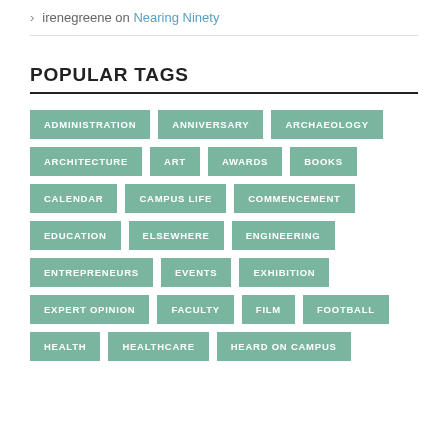irenegreene on Nearing Ninety
POPULAR TAGS
ADMINISTRATION
ANNIVERSARY
ARCHAEOLOGY
ARCHITECTURE
ART
AWARDS
BOOKS
CALENDAR
CAMPUS LIFE
COMMENCEMENT
EDUCATION
ELSEWHERE
ENGINEERING
ENTREPRENEURS
EVENTS
EXHIBITION
EXPERT OPINION
FACULTY
FILM
FOOTBALL
HEALTH
HEALTHCARE
HEARD ON CAMPUS